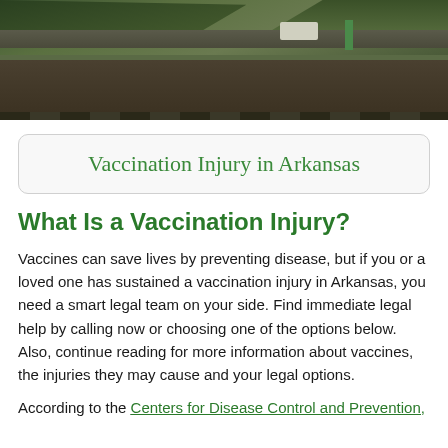[Figure (photo): Aerial photo of a highway bridge with a white truck visible on the road, surrounded by vegetation and hillside scenery.]
Vaccination Injury in Arkansas
What Is a Vaccination Injury?
Vaccines can save lives by preventing disease, but if you or a loved one has sustained a vaccination injury in Arkansas, you need a smart legal team on your side. Find immediate legal help by calling now or choosing one of the options below. Also, continue reading for more information about vaccines, the injuries they may cause and your legal options.
According to the Centers for Disease Control and Prevention,